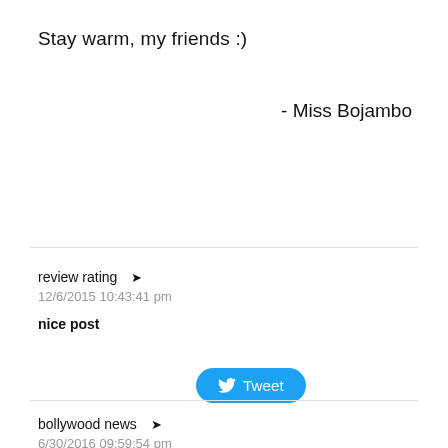Stay warm, my friends :)
- Miss Bojambo
[Figure (other): Twitter Tweet button with bird icon]
review rating ➤
12/6/2015 10:43:41 pm
nice post
Reply
bollywood news ➤
6/30/2016 09:59:54 pm